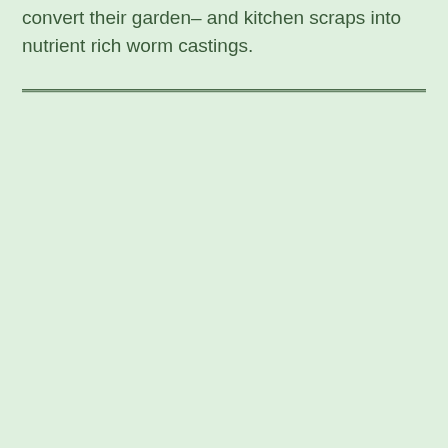convert their garden– and kitchen scraps into nutrient rich worm castings.